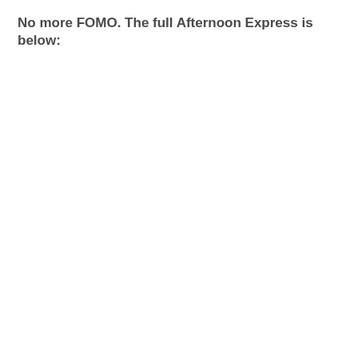No more FOMO. The full Afternoon Express is below: